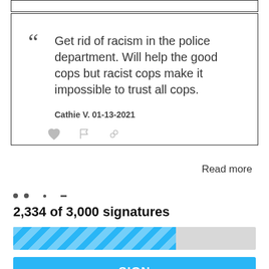“Get rid of racism in the police department. Will help the good cops but racist cops make it impossible to trust all cops.
Cathie V. 01-13-2021
Read more
2,334 of 3,000 signatures
[Figure (other): Progress bar showing approximately 67% filled with blue diagonal striped pattern, remaining 33% grey]
SIGN